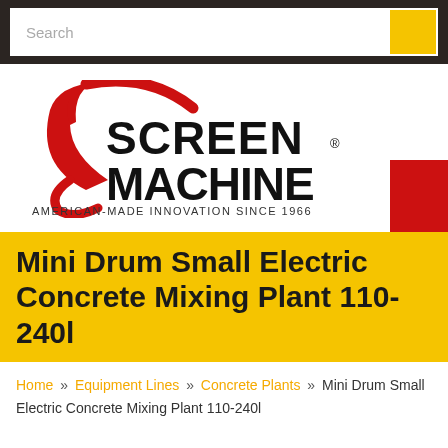Search
[Figure (logo): Screen Machine logo with red swoosh arc and text 'SCREEN MACHINE' in bold black letters, tagline 'AMERICAN-MADE INNOVATION SINCE 1966']
Mini Drum Small Electric Concrete Mixing Plant 110-240l
Home » Equipment Lines » Concrete Plants » Mini Drum Small Electric Concrete Mixing Plant 110-240l